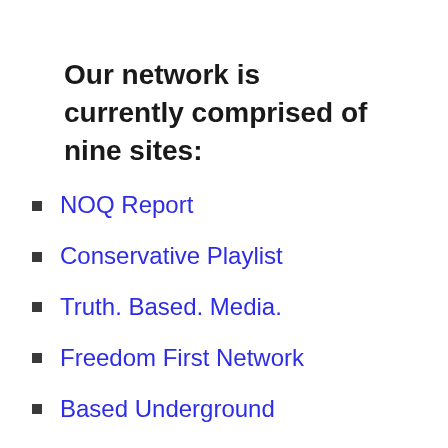Our network is currently comprised of nine sites:
NOQ Report
Conservative Playlist
Truth. Based. Media.
Freedom First Network
Based Underground
Uncanceled News
American Conservative Movement